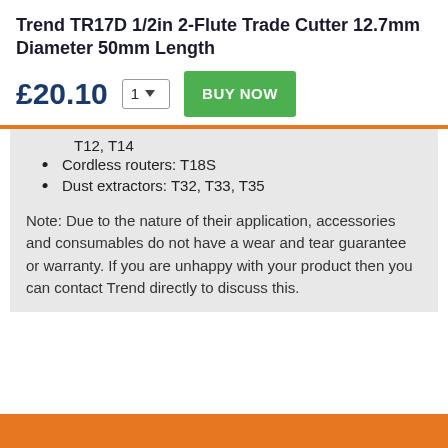Trend TR17D 1/2in 2-Flute Trade Cutter 12.7mm Diameter 50mm Length
£20.10  1 ▼  BUY NOW
T12, T14
Cordless routers: T18S
Dust extractors: T32, T33, T35
Note: Due to the nature of their application, accessories and consumables do not have a wear and tear guarantee or warranty. If you are unhappy with your product then you can contact Trend directly to discuss this.